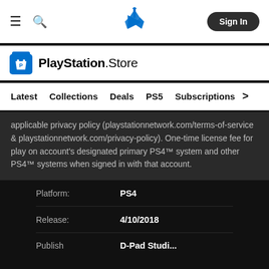≡  🔍  PlayStation logo  Sign In
[Figure (logo): PlayStation Store logo with shopping bag icon and PlayStation Store wordmark]
Latest   Collections   Deals   PS5   Subscriptions >
applicable privacy policy (playstationnetwork.com/terms-of-service & playstationnetwork.com/privacy-policy). One-time license fee for play on account's designated primary PS4™ system and other PS4™ systems when signed in with that account.

Owlboy™
|  |  |
| --- | --- |
| Platform: | PS4 |
| Release: | 4/10/2018 |
| Publish | D-Pad Studi... |
Platform:
Release:
Publish